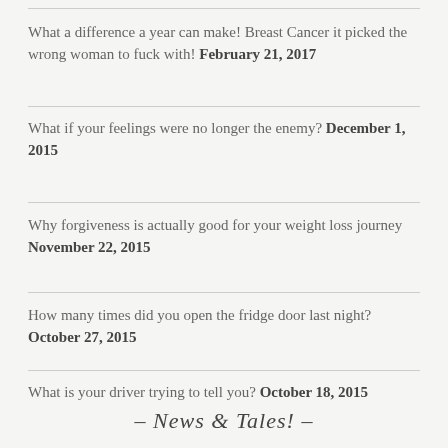What a difference a year can make! Breast Cancer -it picked the wrong woman to fuck with! February 21, 2017
What if your feelings were no longer the enemy? December 1, 2015
Why forgiveness is actually good for your weight loss journey November 22, 2015
How many times did you open the fridge door last night? October 27, 2015
What is your driver trying to tell you? October 18, 2015
– News & Tales! –